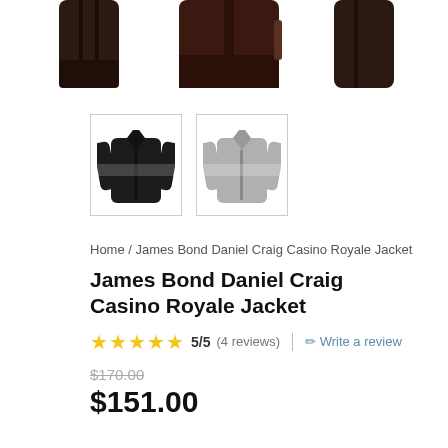[Figure (photo): Three product images of a black leather jacket shown from different angles at the top of the page (cropped, only bottom portions visible).]
[Figure (photo): Two thumbnail images of the James Bond Daniel Craig Casino Royale Jacket — one dark/black version and one light/grey outline version.]
Home / James Bond Daniel Craig Casino Royale Jacket
James Bond Daniel Craig Casino Royale Jacket
5/5 (4 reviews) | Write a review
$170.00
$151.00